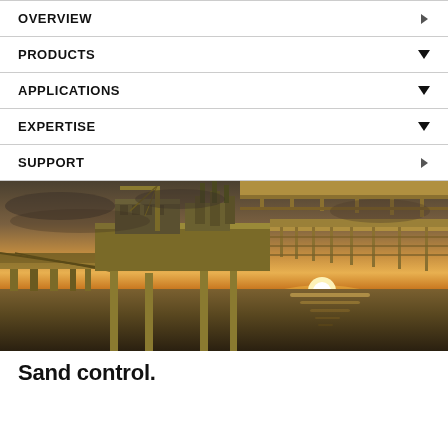OVERVIEW
PRODUCTS
APPLICATIONS
EXPERTISE
SUPPORT
[Figure (photo): Offshore oil and gas platform at sunset, showing yellow steel structures, cranes, pipelines and accommodation modules against a dramatic sky with sun reflecting on the ocean.]
Sand control.